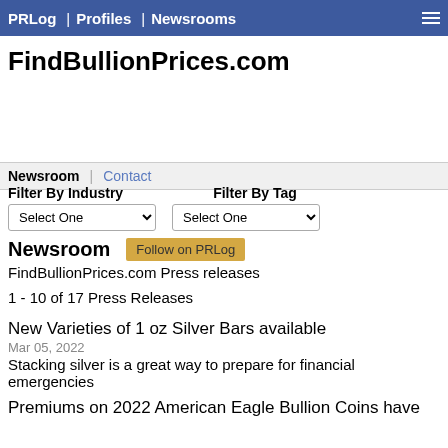PRLog | Profiles | Newsrooms
FindBullionPrices.com
Newsroom | Contact
Filter By Industry   Filter By Tag
Select One   Select One
Newsroom   Follow on PRLog
FindBullionPrices.com Press releases
1 - 10 of 17 Press Releases
New Varieties of 1 oz Silver Bars available
Mar 05, 2022
Stacking silver is a great way to prepare for financial emergencies
Premiums on 2022 American Eagle Bullion Coins have